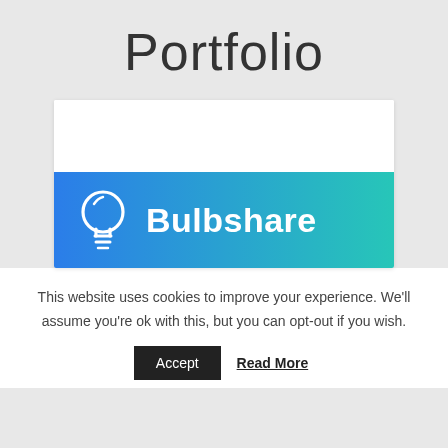Portfolio
[Figure (logo): Bulbshare logo — white lightbulb icon on left, bold white 'Bulbshare' text on right, set against a blue-to-teal gradient background]
This website uses cookies to improve your experience. We'll assume you're ok with this, but you can opt-out if you wish.
Accept   Read More